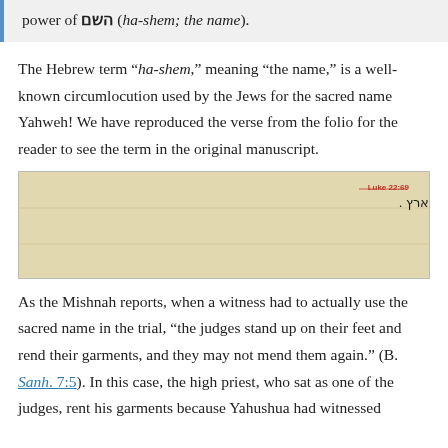power of השם (ha-shem; the name).
The Hebrew term “ha-shem,” meaning “the name,” is a well-known circumlocution used by the Jews for the sacred name Yahweh! We have reproduced the verse from the folio for the reader to see the term in the original manuscript.
[Figure (photo): A manuscript image showing Hebrew/Aramaic text with Luke 22:69 annotation, a red rectangle highlighting the word ha-shem (השם) with the label "ha-shem" in red.]
As the Mishnah reports, when a witness had to actually use the sacred name in the trial, “the judges stand up on their feet and rend their garments, and they may not mend them again.” (B. Sanh. 7:5). In this case, the high priest, who sat as one of the judges, rent his garments because Yahushua had witnessed